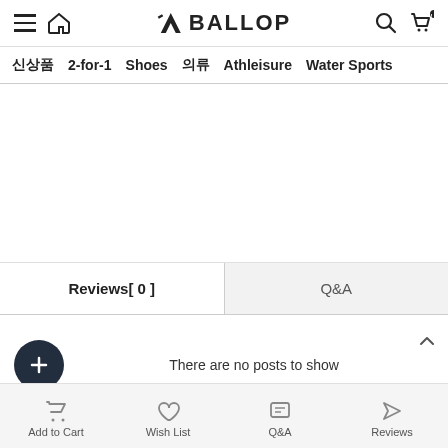BALLOP — navigation header with hamburger menu, home icon, search, and cart
신상품  2-for-1  Shoes  의류  Athleisure  Water Sports
[Figure (screenshot): Blank white product area]
| Reviews[ 0 ] | Q&A |
| --- | --- |
There are no posts to show
Add to Cart  Wish List  Q&A  Reviews